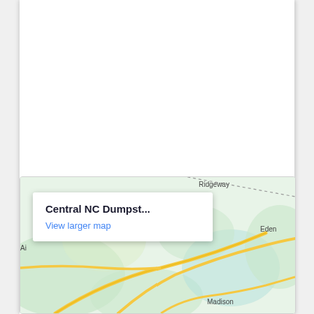[Figure (map): Google Maps embed showing Central NC Dumpst... location with a popup overlay reading 'Central NC Dumpst...' and 'View larger map' link. Map shows towns Ridgeway, Eden, Madison, and partial label 'Ai'. Green terrain with yellow roads visible.]